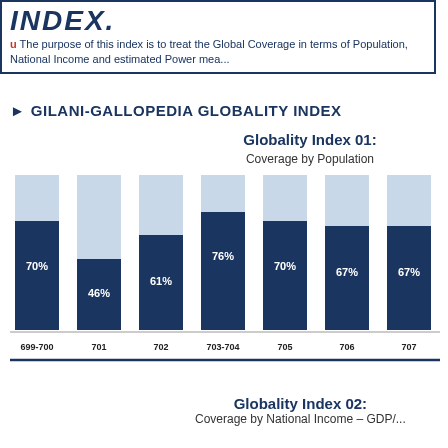INDEX. u The purpose of this index is to treat the Global Coverage in terms of Population, National Income and estimated Power mea...
► GILANI-GALLOPEDIA GLOBALITY INDEX
[Figure (stacked-bar-chart): Globality Index 01: Coverage by Population]
Globality Index 02: Coverage by National Income – GDP/...